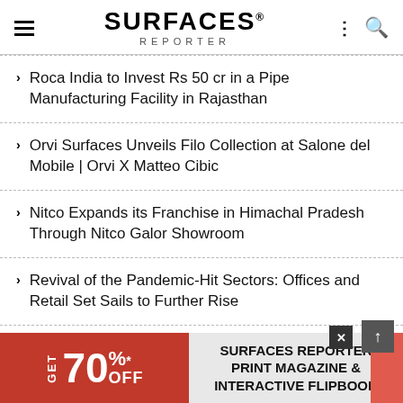SURFACES REPORTER
Roca India to Invest Rs 50 cr in a Pipe Manufacturing Facility in Rajasthan
Orvi Surfaces Unveils Filo Collection at Salone del Mobile | Orvi X Matteo Cibic
Nitco Expands its Franchise in Himachal Pradesh Through Nitco Galor Showroom
Revival of the Pandemic-Hit Sectors: Offices and Retail Set Sails to Further Rise
[Figure (infographic): Advertisement banner: red left panel with GET 70% OFF text, grey right panel with SURFACES REPORTER PRINT MAGAZINE & INTERACTIVE FLIPBOOK text]